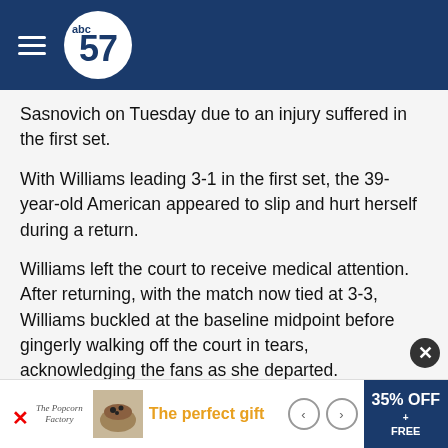abc57 (navigation header)
Sasnovich on Tuesday due to an injury suffered in the first set.
With Williams leading 3-1 in the first set, the 39-year-old American appeared to slip and hurt herself during a return.
Williams left the court to receive medical attention. After returning, with the match now tied at 3-3, Williams buckled at the baseline midpoint before gingerly walking off the court in tears, acknowledging the fans as she departed.
"Brutal for @serenawilliams but centre court is extremely slippy out there. Not easy to move out
The perfect gift — 35% OFF + FREE (advertisement)